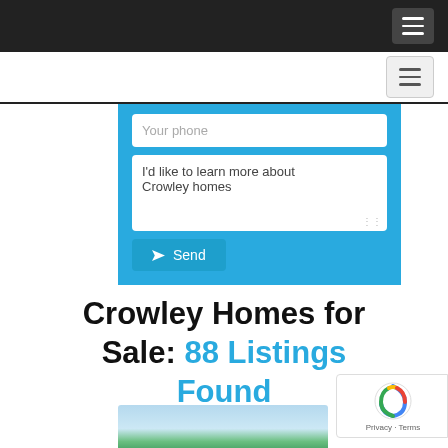Navigation bar (dark)
Navigation bar (light)
[Figure (screenshot): Contact form with 'Your phone' input field, a textarea pre-filled with 'I'd like to learn more about Crowley homes', and a blue Send button, all on a blue background]
Crowley Homes for Sale: 88 Listings Found
[Figure (photo): Partial property photo showing sky and green tree tops]
[Figure (other): reCAPTCHA badge with logo and Privacy · Terms text]